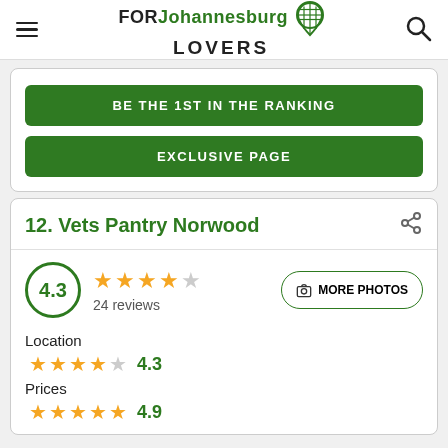FOR Johannesburg LOVERS
BE THE 1ST IN THE RANKING
EXCLUSIVE PAGE
12. Vets Pantry Norwood
4.3 rating, 24 reviews
Location 4.3
Prices 4.9